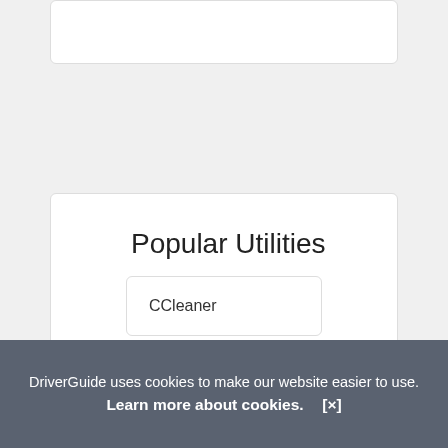more help acticles...
Popular Utilities
CCleaner
Driver Booster Pro
Advanced SystemCare
Driver Easy
DriverGuide uses cookies to make our website easier to use. Learn more about cookies. [×]